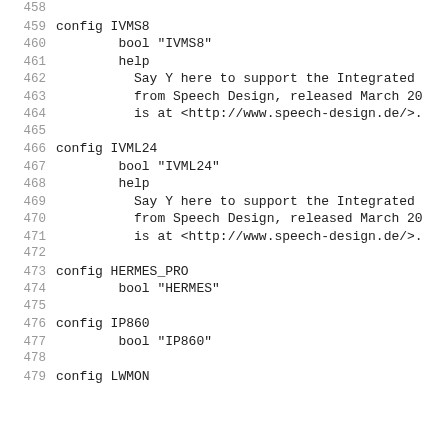Code listing lines 458-479 showing kernel config entries for IVMS8, IVML24, HERMES_PRO, IP860, and LWMON
458
459 config IVMS8
460         bool "IVMS8"
461         help
462           Say Y here to support the Integrated
463           from Speech Design, released March 20
464           is at <http://www.speech-design.de/>.
465
466 config IVML24
467         bool "IVML24"
468         help
469           Say Y here to support the Integrated
470           from Speech Design, released March 20
471           is at <http://www.speech-design.de/>.
472
473 config HERMES_PRO
474         bool "HERMES"
475
476 config IP860
477         bool "IP860"
478
479 config LWMON